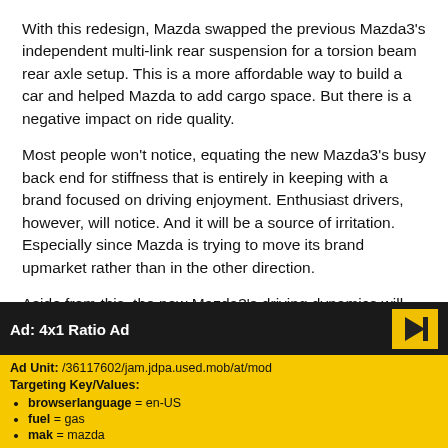With this redesign, Mazda swapped the previous Mazda3's independent multi-link rear suspension for a torsion beam rear axle setup. This is a more affordable way to build a car and helped Mazda to add cargo space. But there is a negative impact on ride quality.
Most people won't notice, equating the new Mazda3's busy back end for stiffness that is entirely in keeping with a brand focused on driving enjoyment. Enthusiast drivers, however, will notice. And it will be a source of irritation. Especially since Mazda is trying to move its brand upmarket rather than in the other direction.
Aside from this, the new Mazda3's driving dynamics will put a smile on your face. From the sharp, accurate, and perfectly weighted steering to the stout, fade-resistant brakes, this little
Ad: 4x1 Ratio Ad
Ad Unit: /36117602/jam.jdpa.used.mob/at/mod
Targeting Key/Values:
browserlanguage = en-US
fuel = gas
mak = mazda